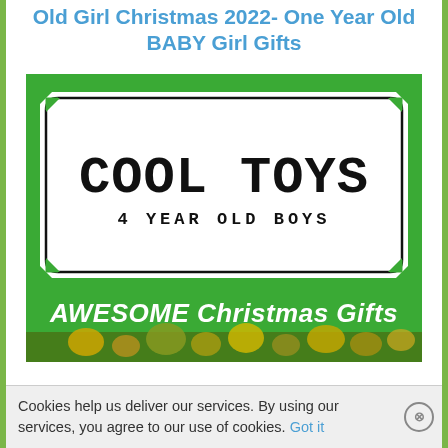Old Girl Christmas 2022- One Year Old BABY Girl Gifts
[Figure (illustration): Green promotional image with a decorative badge label reading 'COOL TOYS' in large bold monospace font, '4 YEAR OLD BOYS' below in smaller caps, and 'AWESOME Christmas Gifts' in white italic text at the bottom. Bottom edge shows Christmas ornament imagery.]
Cookies help us deliver our services. By using our services, you agree to our use of cookies. Got it